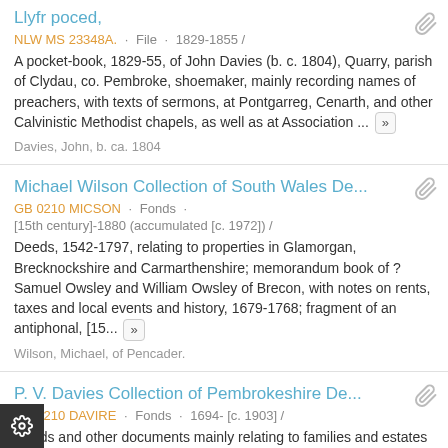Llyfr poced,
NLW MS 23348A.  ·  File  ·  1829-1855 /
A pocket-book, 1829-55, of John Davies (b. c. 1804), Quarry, parish of Clydau, co. Pembroke, shoemaker, mainly recording names of preachers, with texts of sermons, at Pontgarreg, Cenarth, and other Calvinistic Methodist chapels, as well as at Association ... [»]
Davies, John, b. ca. 1804
Michael Wilson Collection of South Wales De...
GB 0210 MICSON  ·  Fonds  ·  [15th century]-1880 (accumulated [c. 1972]) /
Deeds, 1542-1797, relating to properties in Glamorgan, Brecknockshire and Carmarthenshire; memorandum book of ? Samuel Owsley and William Owsley of Brecon, with notes on rents, taxes and local events and history, 1679-1768; fragment of an antiphonal, [15... [»]
Wilson, Michael, of Pencader.
P. V. Davies Collection of Pembrokeshire De...
GB 0210 DAVIRE  ·  Fonds  ·  1694- [c. 1903] /
Deeds and other documents mainly relating to families and estates in the St Davids area, Pembrokeshire, 1694-1896...